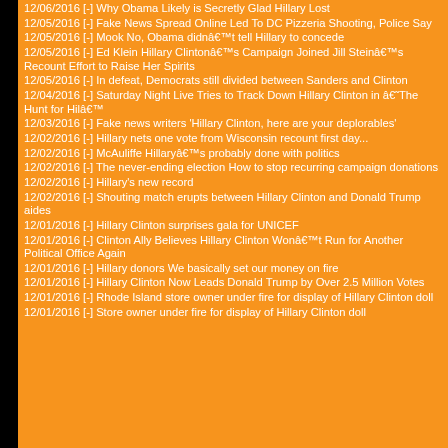12/06/2016 [-] Why Obama Likely is Secretly Glad Hillary Lost
12/05/2016 [-] Fake News Spread Online Led To DC Pizzeria Shooting, Police Say
12/05/2016 [-] Mook No, Obama didnât tell Hillary to concede
12/05/2016 [-] Ed Klein Hillary Clintonâs Campaign Joined Jill Steinâs Recount Effort to Raise Her Spirits
12/05/2016 [-] In defeat, Democrats still divided between Sanders and Clinton
12/04/2016 [-] Saturday Night Live Tries to Track Down Hillary Clinton in âThe Hunt for Hilâ
12/03/2016 [-] Fake news writers 'Hillary Clinton, here are your deplorables'
12/02/2016 [-] Hillary nets one vote from Wisconsin recount first day...
12/02/2016 [-] McAuliffe Hillaryâs probably done with politics
12/02/2016 [-] The never-ending election How to stop recurring campaign donations
12/02/2016 [-] Hillary's new record
12/02/2016 [-] Shouting match erupts between Hillary Clinton and Donald Trump aides
12/01/2016 [-] Hillary Clinton surprises gala for UNICEF
12/01/2016 [-] Clinton Ally Believes Hillary Clinton Wonât Run for Another Political Office Again
12/01/2016 [-] Hillary donors We basically set our money on fire
12/01/2016 [-] Hillary Clinton Now Leads Donald Trump by Over 2.5 Million Votes
12/01/2016 [-] Rhode Island store owner under fire for display of Hillary Clinton doll
12/01/2016 [-] Store owner under fire for display of Hillary Clinton doll